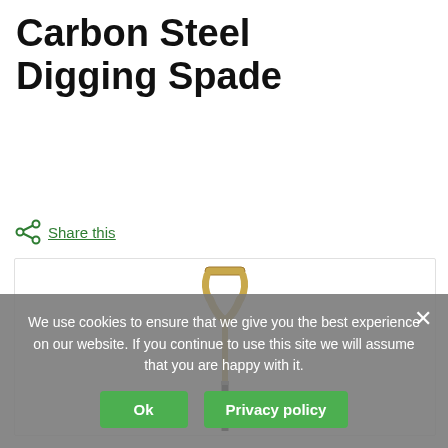Carbon Steel Digging Spade
Share this
[Figure (photo): A carbon steel digging spade with a wooden D-grip handle and dark metal shaft, shown vertically. The handle has a Y-shaped wooden top grip and the handle is branded 'Kent & Stowe'.]
We use cookies to ensure that we give you the best experience on our website. If you continue to use this site we will assume that you are happy with it.
Ok
Privacy policy